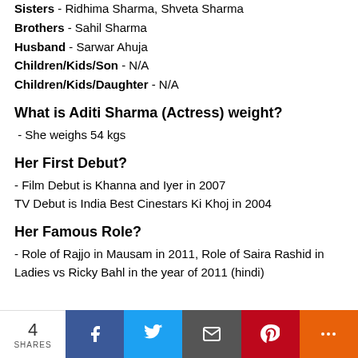Sisters - Ridhima Sharma, Shveta Sharma
Brothers - Sahil Sharma
Husband - Sarwar Ahuja
Children/Kids/Son - N/A
Children/Kids/Daughter - N/A
What is Aditi Sharma (Actress) weight?
- She weighs 54 kgs
Her First Debut?
- Film Debut is Khanna and Iyer in 2007
TV Debut is India Best Cinestars Ki Khoj in 2004
Her Famous Role?
- Role of Rajjo in Mausam in 2011, Role of Saira Rashid in Ladies vs Ricky Bahl in the year of 2011 (hindi)
4 SHARES | Facebook | Twitter | Email | Pinterest | More